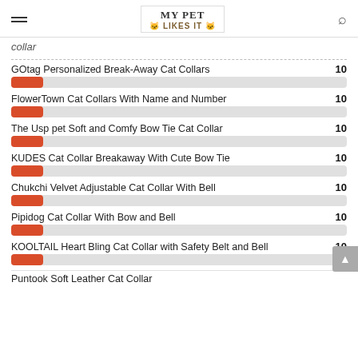MY PET LIKES IT
Collar
GOtag Personalized Break-Away Cat Collars
FlowerTown Cat Collars With Name and Number
The Usp pet Soft and Comfy Bow Tie Cat Collar
KUDES Cat Collar Breakaway With Cute Bow Tie
Chukchi Velvet Adjustable Cat Collar With Bell
Pipidog Cat Collar With Bow and Bell
KOOLTAIL Heart Bling Cat Collar with Safety Belt and Bell
Puntook Soft Leather Cat Collar